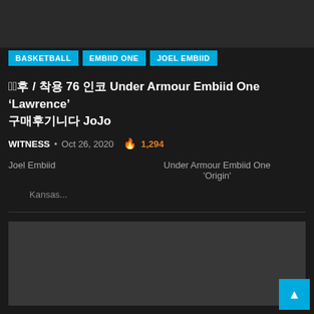[Figure (photo): Dark gray top image area placeholder]
BASKETBALL   EMBIID ONE   JOEL EMBIID
구매 후기 / 착용 76 인코 Under Armour Embiid One 'Lawrence' 구매후기니다 JoJo
WITNESS • Oct 26, 2020 🔥 1,294
Joel Embiid
Under Armour Embiid One 'Origin'
Kansas...
[Figure (photo): Dark gray bottom image area placeholder]